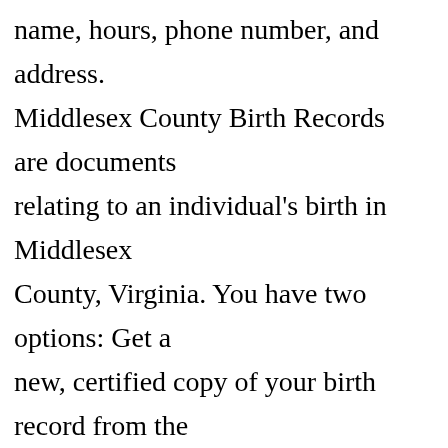name, hours, phone number, and address. Middlesex County Birth Records are documents relating to an individual's birth in Middlesex County, Virginia. You have two options: Get a new, certified copy of your birth record from the Office of Vital Statistics and Registry. http://www.wakefieldlibrary.org/local-genealogy/ Middlesex County, VA Vital Records. ServiceOntario, Birth Records is the only government-authorized source for obtaining birth certificates. Help others by sharing new links and reporting broken links. Winchester Town Clerk's